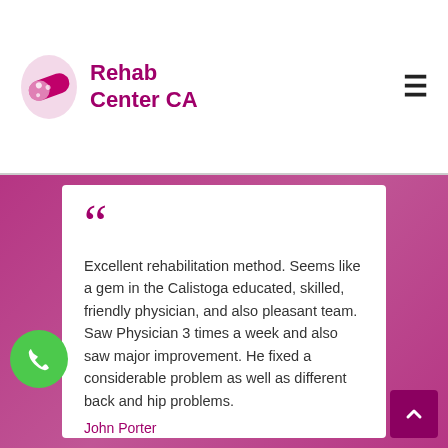[Figure (logo): Rehab Center CA logo with pink pill/sandal icon and magenta text]
Excellent rehabilitation method. Seems like a gem in the Calistoga educated, skilled, friendly physician, and also pleasant team. Saw Physician 3 times a week and also saw major improvement. He fixed a considerable problem as well as different back and hip problems.
John Porter